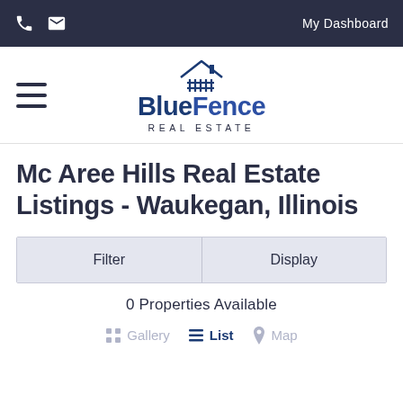My Dashboard
[Figure (logo): BlueFence Real Estate logo with house/fence icon above the wordmark]
Mc Aree Hills Real Estate Listings - Waukegan, Illinois
Filter | Display
0 Properties Available
Gallery  List  Map